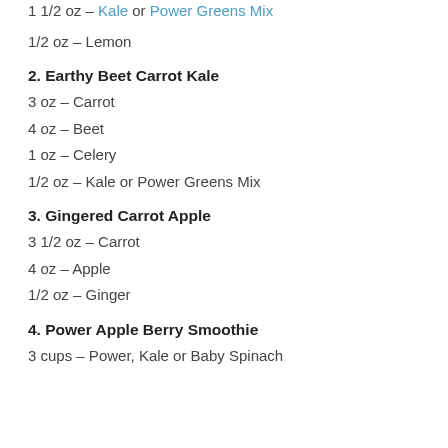1 1/2 oz – Kale or Power Greens Mix
1/2 oz – Lemon
2. Earthy Beet Carrot Kale
3 oz – Carrot
4 oz – Beet
1 oz – Celery
1/2 oz – Kale or Power Greens Mix
3. Gingered Carrot Apple
3 1/2 oz – Carrot
4 oz – Apple
1/2 oz – Ginger
4. Power Apple Berry Smoothie
3 cups – Power, Kale or Baby Spinach